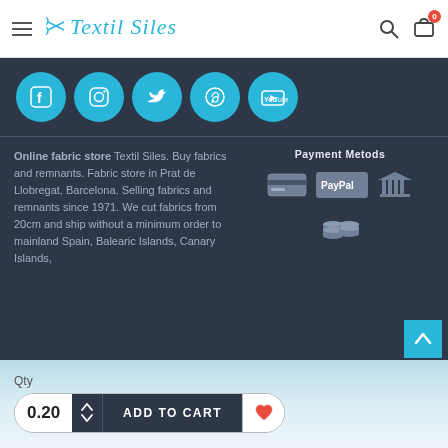Textil Siles
[Figure (infographic): Social media icons row: Facebook, Instagram, Twitter, Pinterest, YouTube — cyan circles on dark background]
Payment Metods
Online fabric store Textil Siles. Buy fabrics and remnants. Fabric store in Prat de Llobregat, Barcelona. Selling fabrics and remnants since 1971. We cut fabrics from 20cm and ship without a minimum order to mainland Spain, Balearic Islands, Canary Islands,
[Figure (infographic): Payment method icons: credit card, PayPal, bank/building icon, coins]
Qty
0.20
ADD TO CART